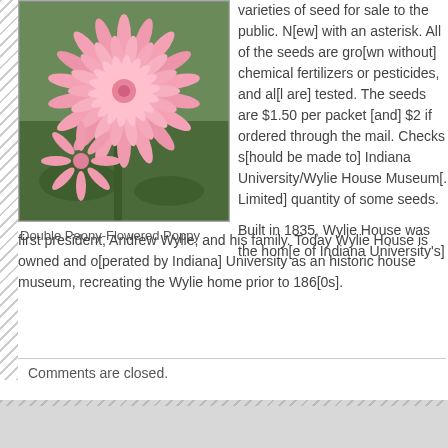[Figure (photo): Double Peony-Flowered Poppy — pink fluffy double flower close-up photograph]
Double Peony-Flowered Poppy
varieties of seed for sale to the public. [text continues] with an asterisk. All of the seeds are gro[wn without] chemical fertilizers or pesticides, and al[l are] tested. The seeds are $1.50 per packet [and] $2 if ordered through the mail. Checks s[hould be made to] Indiana University/Wylie House Museum[. Limited] quantity of some seeds.
Built in 1835, Wylie House was the home [of Indiana University's] first president, Andrew Wylie, and his family. Today Wylie House is owned and o[perated by Indiana] University as an historic house museum, recreating the Wylie home prior to 186[0s].
Comments are closed.
latest video post
random posts